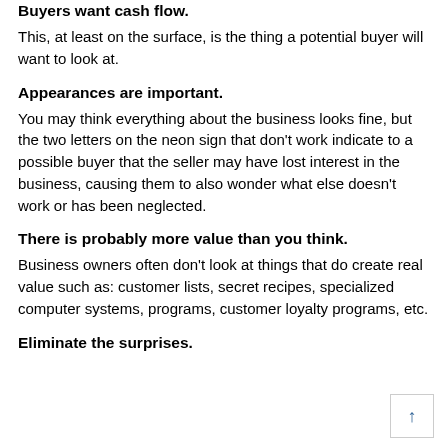Buyers want cash flow.
This, at least on the surface, is the thing a potential buyer will want to look at.
Appearances are important.
You may think everything about the business looks fine, but the two letters on the neon sign that don’t work indicate to a possible buyer that the seller may have lost interest in the business, causing them to also wonder what else doesn’t work or has been neglected.
There is probably more value than you think.
Business owners often don’t look at things that do create real value such as: customer lists, secret recipes, specialized computer systems, programs, customer loyalty programs, etc.
Eliminate the surprises.